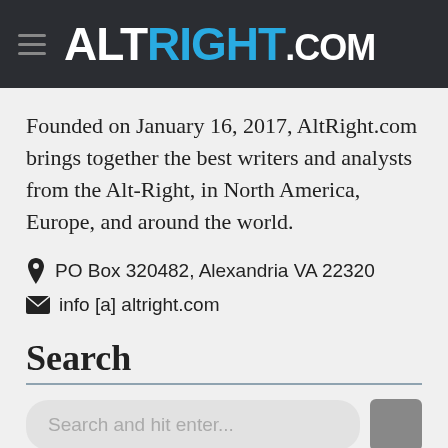ALTRIGHT.COM
Founded on January 16, 2017, AltRight.com brings together the best writers and analysts from the Alt-Right, in North America, Europe, and around the world.
PO Box 320482, Alexandria VA 22320
info [a] altright.com
Search